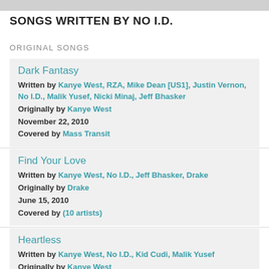SONGS WRITTEN BY NO I.D.
ORIGINAL SONGS
Dark Fantasy
Written by Kanye West, RZA, Mike Dean [US1], Justin Vernon, No I.D., Malik Yusef, Nicki Minaj, Jeff Bhasker
Originally by Kanye West
November 22, 2010
Covered by Mass Transit
Find Your Love
Written by Kanye West, No I.D., Jeff Bhasker, Drake
Originally by Drake
June 15, 2010
Covered by (10 artists)
Heartless
Written by Kanye West, No I.D., Kid Cudi, Malik Yusef
Originally by Kanye West